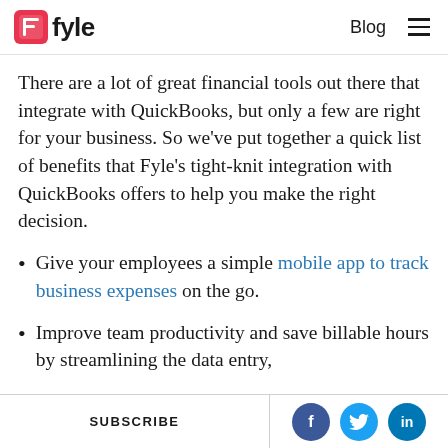Fyle | Blog
There are a lot of great financial tools out there that integrate with QuickBooks, but only a few are right for your business. So we've put together a quick list of benefits that Fyle's tight-knit integration with QuickBooks offers to help you make the right decision.
Give your employees a simple mobile app to track business expenses on the go.
Improve team productivity and save billable hours by streamlining the data entry,
SUBSCRIBE | f | t | in